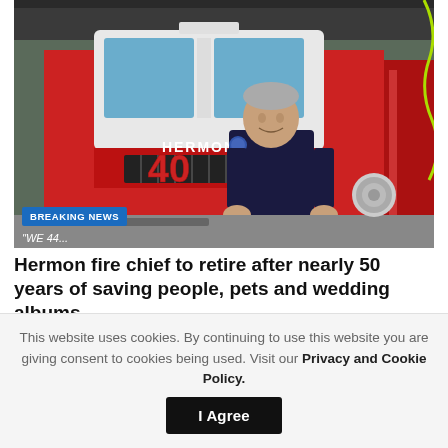[Figure (photo): A fire chief in dark uniform sits smiling in front of a large red Hermon fire truck with the number 40 displayed on the grille. The scene is inside a fire station garage. A 'BREAKING NEWS' badge is overlaid at the bottom left of the photo.]
Hermon fire chief to retire after nearly 50 years of saving people, pets and wedding albums
September 5, 2022
This website uses cookies. By continuing to use this website you are giving consent to cookies being used. Visit our Privacy and Cookie Policy.